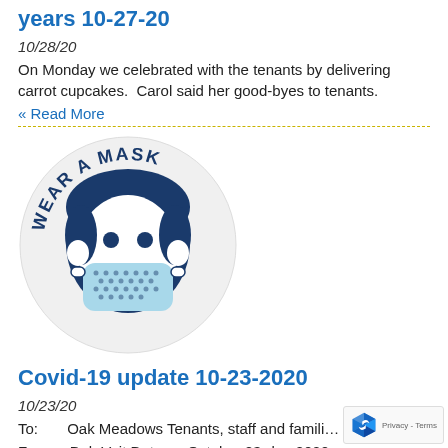years 10-27-20
10/28/20
On Monday we celebrated with the tenants by delivering carrot cupcakes.  Carol said her good-byes to tenants.
« Read More
[Figure (illustration): Circular icon of a cartoon child wearing a face mask with text 'WEAR A MASK' arched around the top]
Covid-19 update 10-23-2020
10/23/20
To:      Oak Meadows Tenants, staff and famili…
From:   Deb Veit Date:    October 23rd  ,  2020